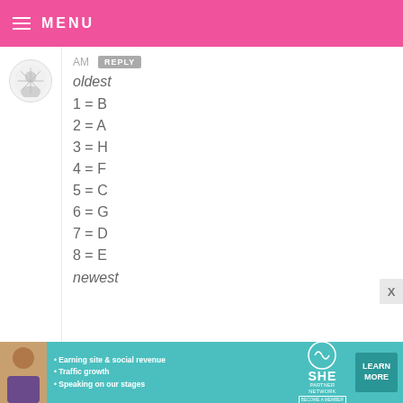MENU
AM  REPLY
oldest
1 = B
2 = A
3 = H
4 = F
5 = C
6 = G
7 = D
8 = E
newest
[Figure (infographic): SHE Partner Network advertisement banner with photo of woman, bullet points about earning site & social revenue, traffic growth, speaking on stages, SHE logo, and Learn More button]